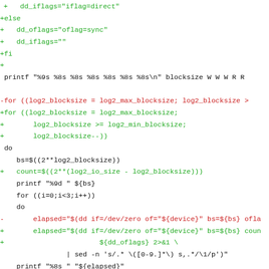Code diff showing shell script changes for dd_iflags, dd_oflags, blocksize loop, and elapsed measurement commands